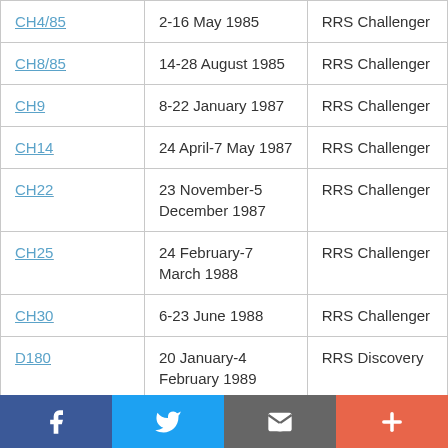| CH4/85 | 2-16 May 1985 | RRS Challenger |
| CH8/85 | 14-28 August 1985 | RRS Challenger |
| CH9 | 8-22 January 1987 | RRS Challenger |
| CH14 | 24 April-7 May 1987 | RRS Challenger |
| CH22 | 23 November-5 December 1987 | RRS Challenger |
| CH25 | 24 February-7 March 1988 | RRS Challenger |
| CH30 | 6-23 June 1988 | RRS Challenger |
| D180 | 20 January-4 February 1989 | RRS Discovery |
f  [twitter]  [email]  +